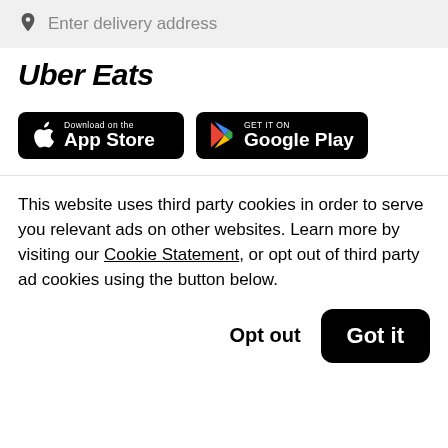Enter delivery address
Uber Eats
[Figure (logo): Download on the App Store button (black rounded rectangle with Apple logo)]
[Figure (logo): Get it on Google Play button (black rounded rectangle with Google Play triangle logo)]
This website uses third party cookies in order to serve you relevant ads on other websites. Learn more by visiting our Cookie Statement, or opt out of third party ad cookies using the button below.
Opt out
Got it